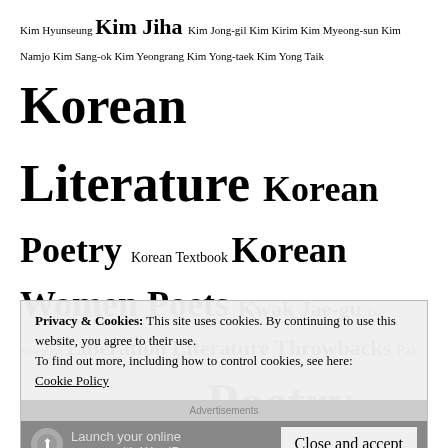Kim Hyunseung Kim Jiha Kim Jong-gil Kim Kirim Kim Myeong-sun Kim Namjo Kim Sang-ok Kim Yeongrang Kim Yong-taek Kim Yong Taik Korean Literature Korean Poetry Korean Textbook Korean Women Poets Kwak Jae-gu Lee Hyeonggi Liberation Literature Throwbacks Pak Mok-wol Park Namsu Park Sungryong Poetry Translation Prose Poetry Shin Dong-yup Sijo (Fixed Verse) Song Myungho Website Recommendation Yang Jungja Yoon Jungsoon Yun Dongju
ARCHIVES
December 2017 (1)
November 2017 (1)
Privacy & Cookies: This site uses cookies. By continuing to use this website, you agree to their use. To find out more, including how to control cookies, see here: Cookie Policy
Close and accept